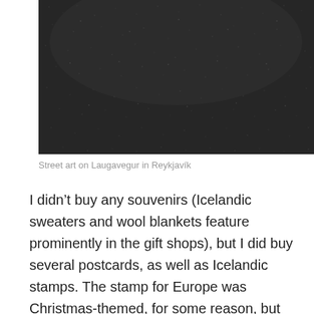[Figure (photo): Close-up photograph of dark textured surface, likely black volcanic rock or asphalt with fine speckled grain, possibly street art surface on Laugavegur in Reykjavík]
Street art on Laugavegur in Reykjavík
I didn't buy any souvenirs (Icelandic sweaters and wool blankets feature prominently in the gift shops), but I did buy several postcards, as well as Icelandic stamps. The stamp for Europe was Christmas-themed, for some reason, but the stamp for outside of Europe featured an Icelandic gyrfalcon. I later dropped my postcards in fire engine red Pósturinn boxes, one in a Krónan grocery store